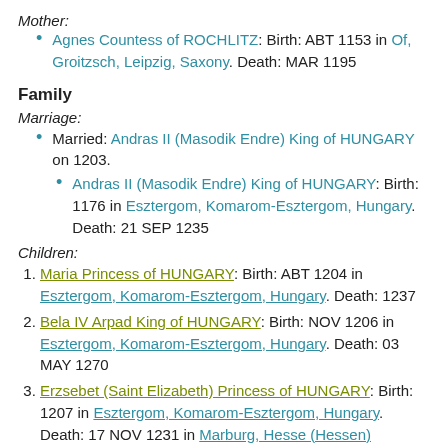Mother:
Agnes Countess of ROCHLITZ: Birth: ABT 1153 in Of, Groitzsch, Leipzig, Saxony. Death: MAR 1195
Family
Marriage:
Married: Andras II (Masodik Endre) King of HUNGARY on 1203.
Andras II (Masodik Endre) King of HUNGARY: Birth: 1176 in Esztergom, Komarom-Esztergom, Hungary. Death: 21 SEP 1235
Children:
Maria Princess of HUNGARY: Birth: ABT 1204 in Esztergom, Komarom-Esztergom, Hungary. Death: 1237
Bela IV Arpad King of HUNGARY: Birth: NOV 1206 in Esztergom, Komarom-Esztergom, Hungary. Death: 03 MAY 1270
Erzsebet (Saint Elizabeth) Princess of HUNGARY: Birth: 1207 in Esztergom, Komarom-Esztergom, Hungary. Death: 17 NOV 1231 in Marburg, Hesse (Hessen)